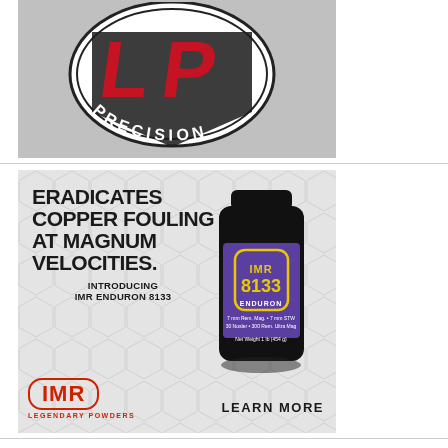[Figure (logo): LP Precision logo — red stylized 'LP' letters on a dark shield shape inside a circular badge, with 'PRECISION' text along the bottom arc, on a gray background]
[Figure (advertisement): IMR Legendary Powders advertisement for IMR Enduron 8133. Text reads: 'ERADICATES COPPER FOULING AT MAGNUM VELOCITIES. INTRODUCING IMR ENDURON 8133'. IMR logo badge in red on lower left. 'LEARN MORE' text lower right. Purple bottle of IMR 8133 Enduron powder on right side. Hexagonal pattern background.]